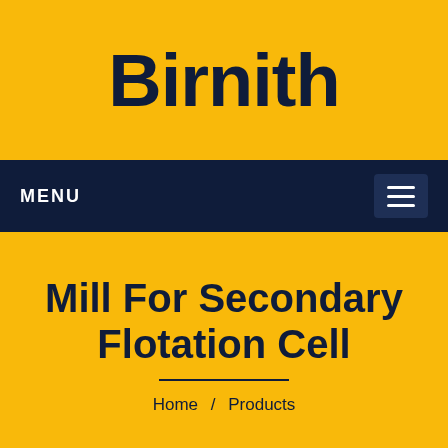Birnith
MENU
Mill For Secondary Flotation Cell
Home / Products